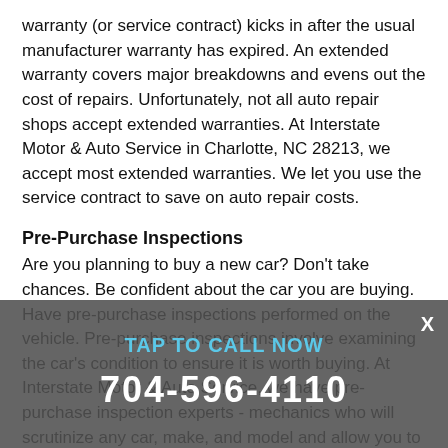warranty (or service contract) kicks in after the usual manufacturer warranty has expired. An extended warranty covers major breakdowns and evens out the cost of repairs. Unfortunately, not all auto repair shops accept extended warranties. At Interstate Motor & Auto Service in Charlotte, NC 28213, we accept most extended warranties. We let you use the service contract to save on auto repair costs.
Pre-Purchase Inspections
Are you planning to buy a new car? Don't take chances. Be confident about the car you are buying. Have pre-purchase inspections performed on the vehicle. Pre-purchase inspections involve examining the car's condition to ensure it is worth buying. At Interstate Motor & Auto Service, we have pre-purchase inspection experts - mechanics who will scrutinize any car, make, and model and allow you to make an informed decision. Pre-purchase inspections will definitely give you peace of mind when you buy your next used car.
Pre-Trip Inspection
A pre-trip check up can make the difference between a
[Figure (other): A call-to-action overlay banner with 'TAP TO CALL NOW' text in blue and phone number '704-596-4110' in white, on a semi-transparent dark gray background with an X close button.]